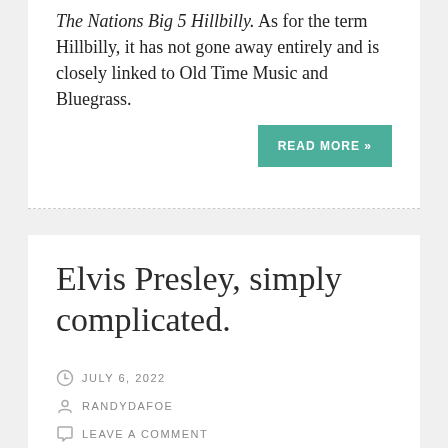The Nations Big 5 Hillbilly. As for the term Hillbilly, it has not gone away entirely and is closely linked to Old Time Music and Bluegrass.
READ MORE »
Elvis Presley, simply complicated.
JULY 6, 2022
RANDYDAFOE
LEAVE A COMMENT